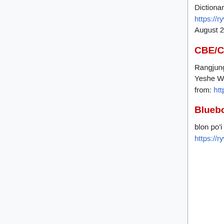Dictionary contributors, "blon po'i do ha," Rangjung Yeshe Wiki - Dharma Dictionary, , https://rywiki.tsadra.org/index.php?title=blon_po%27i_do_ha&oldid=662145 (accessed August 22, 2022).
CBE/CSE style
Rangjung Yeshe Wiki - Dharma Dictionary contributors. blon po'i do ha [Internet]. Rangjung Yeshe Wiki - Dharma Dictionary, ; 2021 May 5, 13:07 UTC [cited 2022 Aug 22]. Available from: https://rywiki.tsadra.org/index.php?title=blon_po%27i_do_ha&oldid=662145.
Bluebook style
blon po'i do ha, https://rywiki.tsadra.org/index.php?